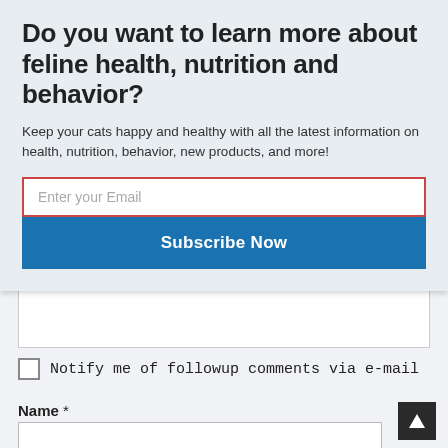Do you want to learn more about feline health, nutrition and behavior?
Keep your cats happy and healthy with all the latest information on health, nutrition, behavior, new products, and more!
Enter your Email
Subscribe Now
[Figure (other): Partially visible comment textarea input field]
Notify me of followup comments via e-mail
Name *
[Figure (other): Name text input field]
Email *